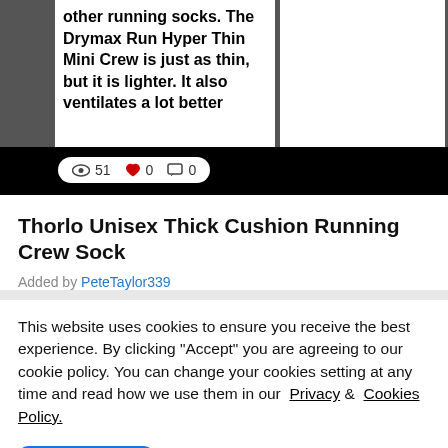[Figure (photo): Grayscale photo of two pieces of paper/cards with bold printed text about running socks. Left card reads: 'other running socks. The Drymax Run Hyper Thin Mini Crew is just as thin, but it is lighter. It also ventilates a lot better'. Right card is partially visible and blank.]
51  0  0
Thorlo Unisex Thick Cushion Running Crew Sock
Added by PeteTaylor339
This website uses cookies to ensure you receive the best experience. By clicking "Accept" you are agreeing to our cookie policy. You can change your cookies setting at any time and read how we use them in our Privacy & Cookies Policy.
Accept
Learn more